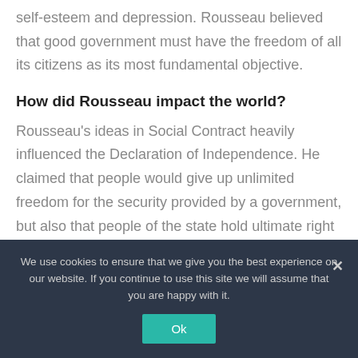self-esteem and depression. Rousseau believed that good government must have the freedom of all its citizens as its most fundamental objective.
How did Rousseau impact the world?
Rousseau's ideas in Social Contract heavily influenced the Declaration of Independence. He claimed that people would give up unlimited freedom for the security provided by a government, but also that people of the state hold ultimate right to power. Social
We use cookies to ensure that we give you the best experience on our website. If you continue to use this site we will assume that you are happy with it.